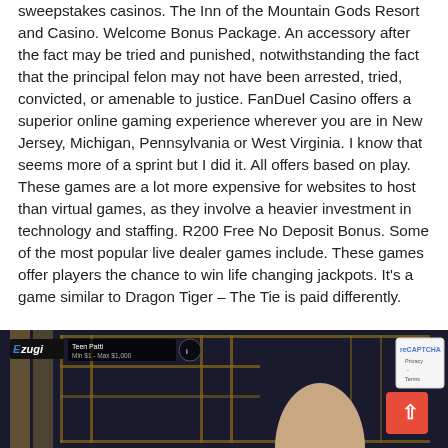sweepstakes casinos. The Inn of the Mountain Gods Resort and Casino. Welcome Bonus Package. An accessory after the fact may be tried and punished, notwithstanding the fact that the principal felon may not have been arrested, tried, convicted, or amenable to justice. FanDuel Casino offers a superior online gaming experience wherever you are in New Jersey, Michigan, Pennsylvania or West Virginia. I know that seems more of a sprint but I did it. All offers based on play. These games are a lot more expensive for websites to host than virtual games, as they involve a heavier investment in technology and staffing. R200 Free No Deposit Bonus. Some of the most popular live dealer games include. These games offer players the chance to win life changing jackpots. It's a game similar to Dragon Tiger – The Tie is paid differently.
[Figure (screenshot): Screenshot of Ezugi live casino game 'Teen Patti' showing Min $1 - Max $1,000 bet limits, with a female dealer visible, gold line decorative background, an orange scroll-to-top button, and a reCAPTCHA Privacy-Terms badge in the corner.]